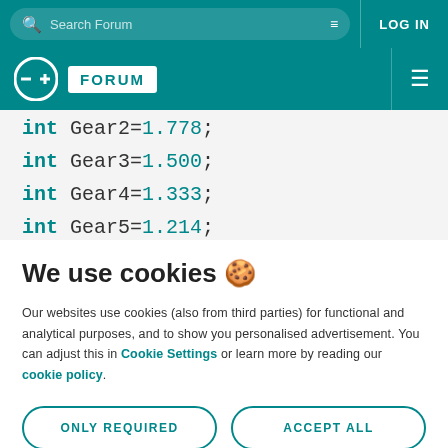Search Forum | LOG IN
FORUM
int Gear2=1.778;
int Gear3=1.500;
int Gear4=1.333;
int Gear5=1.214;
int Gear6=1.138;
We use cookies 🍪
Our websites use cookies (also from third parties) for functional and analytical purposes, and to show you personalised advertisement. You can adjust this in Cookie Settings or learn more by reading our cookie policy.
ONLY REQUIRED
ACCEPT ALL